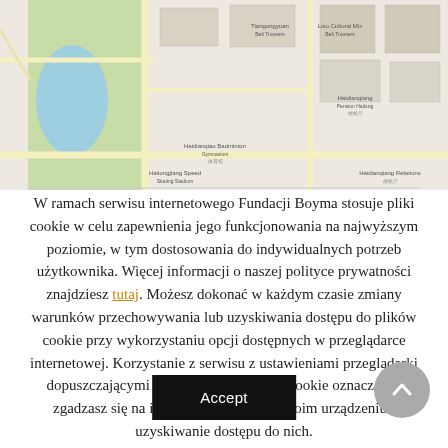[Figure (map): Street map showing area with green park/lake area on left, roads, and Chinese-labeled buildings and landmarks]
W ramach serwisu internetowego Fundacji Boyma stosuje pliki cookie w celu zapewnienia jego funkcjonowania na najwyższym poziomie, w tym dostosowania do indywidualnych potrzeb użytkownika. Więcej informacji o naszej polityce prywatności znajdziesz tutaj. Możesz dokonać w każdym czasie zmiany warunków przechowywania lub uzyskiwania dostępu do plików cookie przy wykorzystaniu opcji dostępnych w przeglądarce internetowej. Korzystanie z serwisu z ustawieniami przeglądarki dopuszczającymi pozostawianie plików cookie oznacza, że zgadzasz się na ich pozostawianie w Twoim urządzeniu i uzyskiwanie dostępu do nich.
Accept